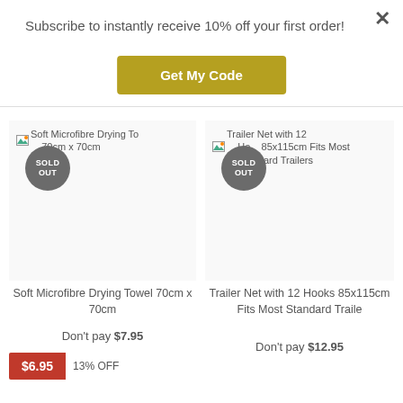Subscribe to instantly receive 10% off your first order!
Get My Code
[Figure (screenshot): Soft Microfibre Drying Towel 70cm x 70cm product image with SOLD OUT badge]
Soft Microfibre Drying Towel 70cm x 70cm
Don't pay $7.95
$6.95
13% OFF
[Figure (screenshot): Trailer Net with 12 Hooks 85x115cm Fits Most Standard Trailers product image with SOLD OUT badge]
Trailer Net with 12 Hooks 85x115cm Fits Most Standard Traile
Don't pay $12.95